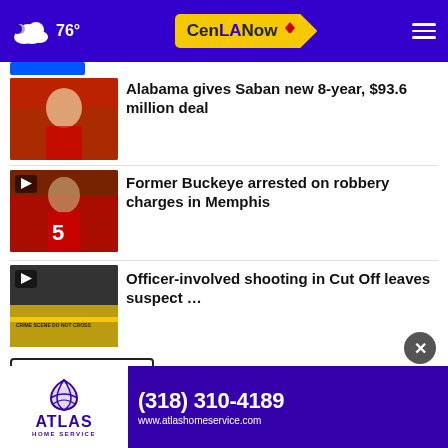76° CenLANow
[Figure (screenshot): Thumbnail image of football players for Alabama Saban story]
Alabama gives Saban new 8-year, $93.6 million deal
[Figure (screenshot): Thumbnail image of football player #5 for Former Buckeye robbery story, with play icon]
Former Buckeye arrested on robbery charges in Memphis
[Figure (screenshot): Thumbnail image of crime scene tape for officer-involved shooting story, with play icon]
Officer-involved shooting in Cut Off leaves suspect …
More Stories ›
[Figure (infographic): Atlas Home Service advertisement. Phone: (318) 310-4189. Website: www.atlashomeservice.com]